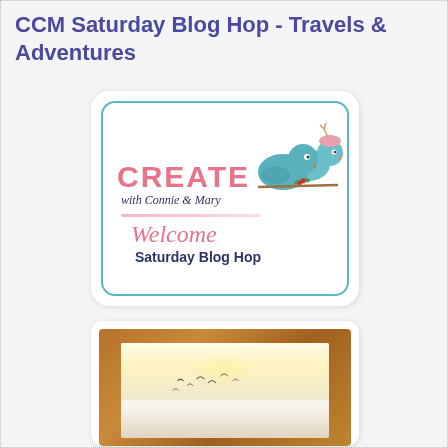CCM Saturday Blog Hop - Travels & Adventures
[Figure (logo): Create with Connie & Mary Saturday Blog Hop logo with two teal birds and pink/navy text]
[Figure (photo): Framed artwork in a wood frame showing birds flying over a watercolor landscape, partially visible]